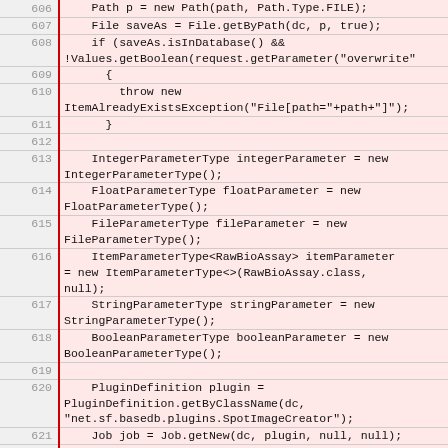[Figure (screenshot): Source code listing showing Java code lines 606-625 with line numbers in gray on left and pink/red highlighted code on right. Code includes file operations, parameter type definitions, plugin definition, and job setup.]